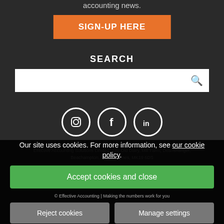accounting news.
SIGN-UP HERE
SEARCH
[Figure (screenshot): Search input box with magnifying glass icon]
[Figure (other): Social media icons: Instagram, Facebook, LinkedIn in white circles]
Effective Accounting Solutions Limited. The Old Dairy, Mill Farm, Deanshanger, Beachampton, Milton Keynes, MK19 6DS
Our site uses cookies. For more information, see our cookie policy.
Accept cookies and close
© Effective Accounting | Making the numbers work for you
Privacy Policy
Reject cookies
Manage settings